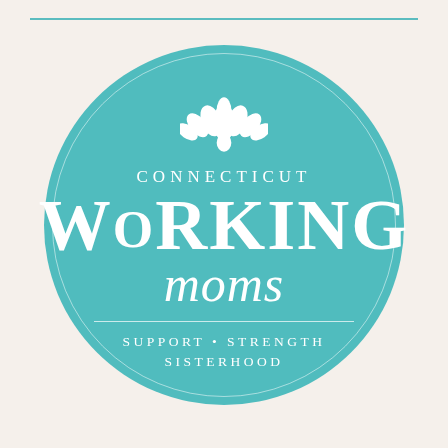[Figure (logo): Connecticut Working Moms circular logo with teal background, white lotus flower, large WORKING text, cursive moms text, and tagline SUPPORT • STRENGTH SISTERHOOD]